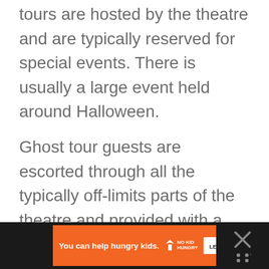tours are hosted by the theatre and are typically reserved for special events. There is usually a large event held around Halloween.
Ghost tour guests are escorted through all the typically off-limits parts of the theatre and provided with a detailed account of the various paranormal events that have been reported over the years.
[Figure (other): Orange advertisement bar at bottom of page: 'You can help hungry kids.' with No Kid Hungry logo and LEARN HOW button, on dark background with close buttons.]